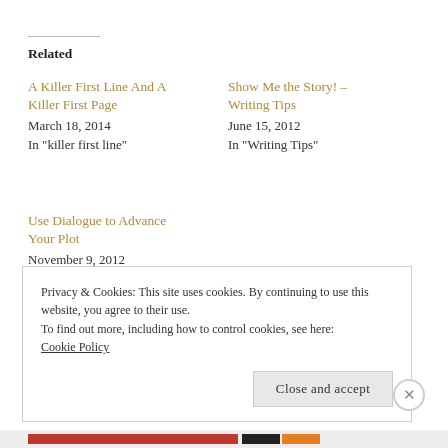Related
A Killer First Line And A Killer First Page
March 18, 2014
In "killer first line"
Show Me the Story! – Writing Tips
June 15, 2012
In "Writing Tips"
Use Dialogue to Advance Your Plot
November 9, 2012
In "editing"
Privacy & Cookies: This site uses cookies. By continuing to use this website, you agree to their use.
To find out more, including how to control cookies, see here:
Cookie Policy
Close and accept